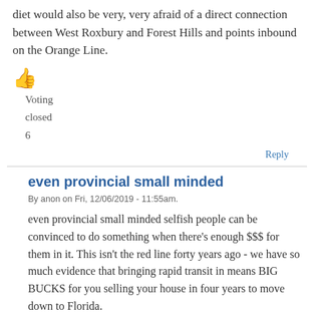diet would also be very, very afraid of a direct connection between West Roxbury and Forest Hills and points inbound on the Orange Line.
[Figure (illustration): Thumbs up emoji icon (orange/yellow)]
Voting
closed
6
Reply
even provincial small minded
By anon on Fri, 12/06/2019 - 11:55am.
even provincial small minded selfish people can be convinced to do something when there's enough $$$ for them in it. This isn't the red line forty years ago - we have so much evidence that bringing rapid transit in means BIG BUCKS for you selling your house in four years to move down to Florida.